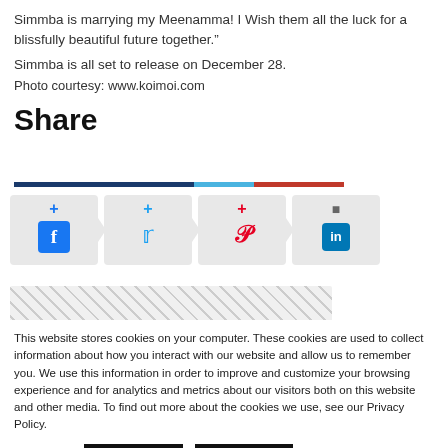Simmba is marrying my Meenamma! I Wish them all the luck for a blissfully beautiful future together.”
Simmba is all set to release on December 28.
Photo courtesy: www.koimoi.com
Share
[Figure (infographic): Social share buttons for Facebook, Twitter, Pinterest, and LinkedIn with plus icons]
[Figure (infographic): Hatched/crosshatch placeholder box]
This website stores cookies on your computer. These cookies are used to collect information about how you interact with our website and allow us to remember you. We use this information in order to improve and customize your browsing experience and for analytics and metrics about our visitors both on this website and other media. To find out more about the cookies we use, see our Privacy Policy.